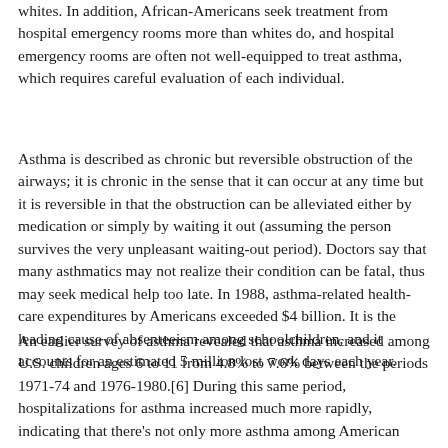whites. In addition, African-Americans seek treatment from hospital emergency rooms more than whites do, and hospital emergency rooms are often not well-equipped to treat asthma, which requires careful evaluation of each individual.
Asthma is described as chronic but reversible obstruction of the airways; it is chronic in the sense that it can occur at any time but it is reversible in that the obstruction can be alleviated either by medication or simply by waiting it out (assuming the person survives the very unpleasant waiting-out period). Doctors say that many asthmatics may not realize their condition can be fatal, thus may seek medical help too late. In 1988, asthma-related health-care expenditures by Americans exceeded $4 billion. It is the leading cause of absenteeism among schoolchildren, and it accounts for an estimated 5 million lost work days each year.
An earlier survey of asthma revealed that asthma increased among U.S. children ages 6 to 11 from 4.8% to 7.6% between the periods 1971-74 and 1976-1980.[6] During this same period, hospitalizations for asthma increased much more rapidly, indicating that there's not only more asthma among American children but perhaps also that it's becoming more severe as time passes. Although there have been changes in the way asthma is defined during the past two decades, the studies we cite (below) considered these changes and still concluded that asthma is increasing rapidly among American children.